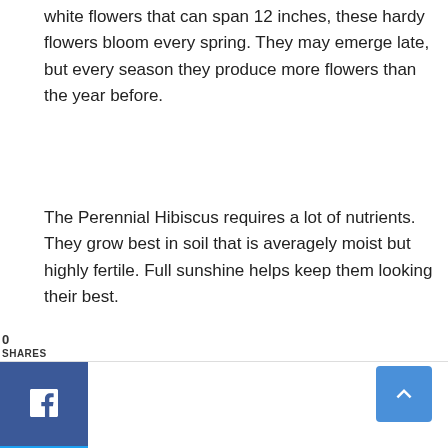white flowers that can span 12 inches, these hardy flowers bloom every spring. They may emerge late, but every season they produce more flowers than the year before.
The Perennial Hibiscus requires a lot of nutrients. They grow best in soil that is averagely moist but highly fertile. Full sunshine helps keep them looking their best.
[Figure (infographic): Social share widget with SHARES label and count 0, and three social media buttons: Facebook (blue), Twitter (light blue), Pinterest (red) with respective icons]
[Figure (other): Scroll-to-top button in blue with an upward chevron arrow icon]